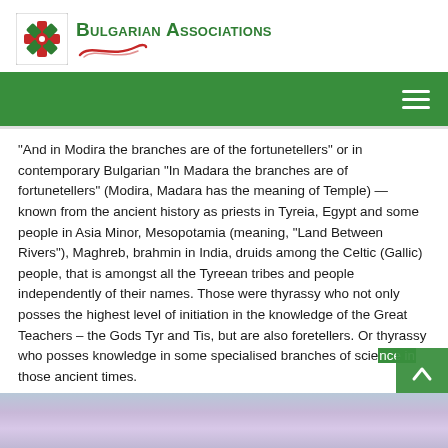Bulgarian Associations
“And in Modira the branches are of the fortunetellers” or in contemporary Bulgarian “In Madara the branches are of fortunetellers” (Modira, Madara has the meaning of Temple) — known from the ancient history as priests in Tyreia, Egypt and some people in Asia Minor, Mesopotamia (meaning, “Land Between Rivers”), Maghreb, brahmin in India, druids among the Celtic (Gallic) people, that is amongst all the Tyreean tribes and people independently of their names. Those were thyrassy who not only posses the highest level of initiation in the knowledge of the Great Teachers – the Gods Tyr and Tis, but are also foretellers. Or thyrassy who posses knowledge in some specialised branches of science in those ancient times.
[Figure (photo): Sky and landscape panoramic image strip at bottom of page]